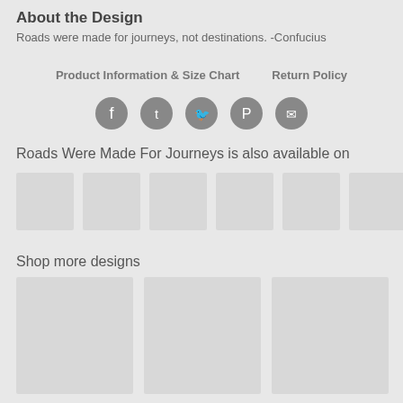About the Design
Roads were made for journeys, not destinations. -Confucius
Product Information & Size Chart     Return Policy
[Figure (infographic): Row of 5 social media icons (Facebook, Tumblr, Twitter, Pinterest, Email) as grey circles with white icons]
Roads Were Made For Journeys is also available on
[Figure (photo): Row of 6 product thumbnail placeholder boxes in grey]
Shop more designs
[Figure (photo): Row of 3 design thumbnail placeholder boxes in light grey]